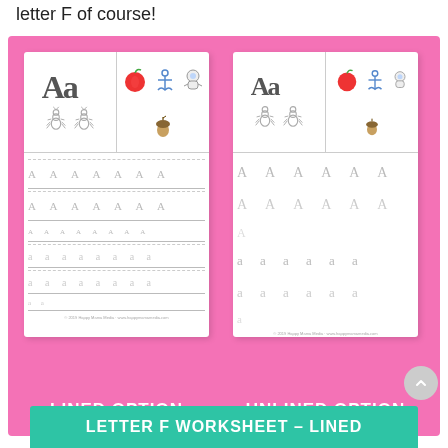letter F of course!
[Figure (illustration): Pink-background composite showing two alphabet worksheet previews side by side. Left worksheet labeled LINED OPTION shows letter Aa, clipart images (apple, anchor, ants, acorns), and dotted tracing lines for uppercase and lowercase A. Right worksheet labeled UNLINED OPTION shows same header with Aa and clipart, but tracing letters without ruled lines below. Both are white paper sheets on pink background.]
LINED OPTION
UNLINED OPTION
LETTER F WORKSHEET – LINED